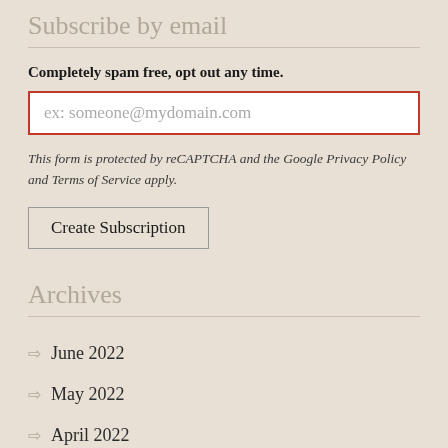Subscribe by email
Completely spam free, opt out any time.
ex: someone@mydomain.com
This form is protected by reCAPTCHA and the Google Privacy Policy and Terms of Service apply.
Create Subscription
Archives
June 2022
May 2022
April 2022
March 2022